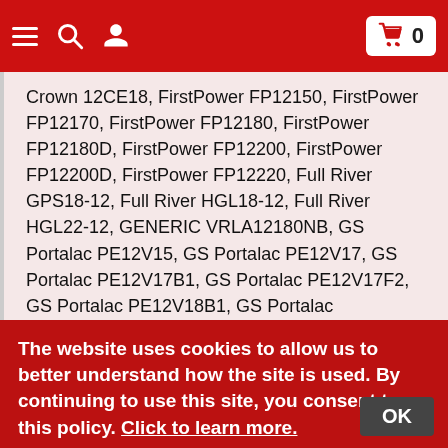Navigation header with hamburger menu, search, user icon, and cart (0)
Crown 12CE18, FirstPower FP12150, FirstPower FP12170, FirstPower FP12180, FirstPower FP12180D, FirstPower FP12200, FirstPower FP12200D, FirstPower FP12220, Full River GPS18-12, Full River HGL18-12, Full River HGL22-12, GENERIC VRLA12180NB, GS Portalac PE12V15, GS Portalac PE12V17, GS Portalac PE12V17B1, GS Portalac PE12V17F2, GS Portalac PE12V18B1, GS Portalac PE12V18F2, Grainger 5TR40, Haze
The website uses cookies to allow us to better understand how the site is used. By continuing to use this site, you consent to this policy. Click to learn more.